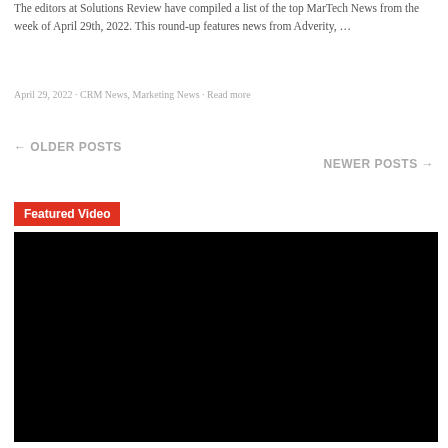The editors at Solutions Review have compiled a list of the top MarTech News from the week of April 29th, 2022. This round-up features news from Adverity, …
April 29, 2022 · CRM News, Marketing News · Read more
← OLDER POSTS
NEWER POSTS →
Featured Video
[Figure (other): Black video player embed area]